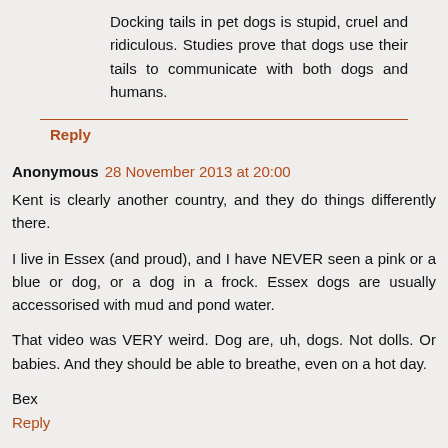Docking tails in pet dogs is stupid, cruel and ridiculous. Studies prove that dogs use their tails to communicate with both dogs and humans.
Reply
Anonymous 28 November 2013 at 20:00
Kent is clearly another country, and they do things differently there.
I live in Essex (and proud), and I have NEVER seen a pink or a blue or dog, or a dog in a frock. Essex dogs are usually accessorised with mud and pond water.
That video was VERY weird. Dog are, uh, dogs. Not dolls. Or babies. And they should be able to breathe, even on a hot day.
Bex
Reply